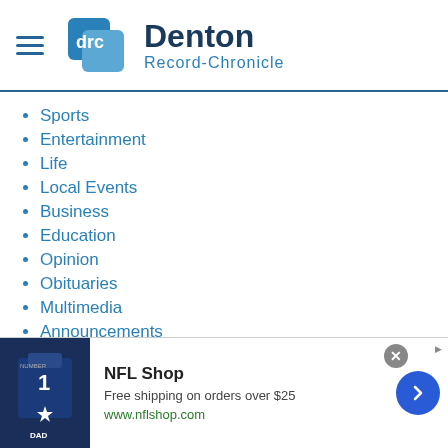[Figure (logo): Denton Record-Chronicle logo with DRC icon and text]
Sports
Entertainment
Life
Local Events
Business
Education
Opinion
Obituaries
Multimedia
Announcements
Online Features
SERVICES
Submission Forms
[Figure (screenshot): NFL Shop advertisement banner with jersey image, Free shipping on orders over $25, www.nflshop.com]